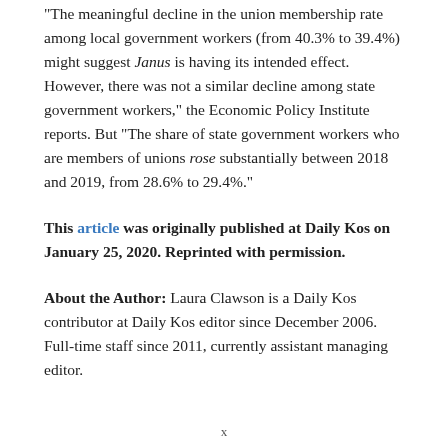“The meaningful decline in the union membership rate among local government workers (from 40.3% to 39.4%) might suggest Janus is having its intended effect. However, there was not a similar decline among state government workers,” the Economic Policy Institute reports. But “The share of state government workers who are members of unions rose substantially between 2018 and 2019, from 28.6% to 29.4%.”
This article was originally published at Daily Kos on January 25, 2020. Reprinted with permission.
About the Author: Laura Clawson is a Daily Kos contributor at Daily Kos editor since December 2006. Full-time staff since 2011, currently assistant managing editor.
x